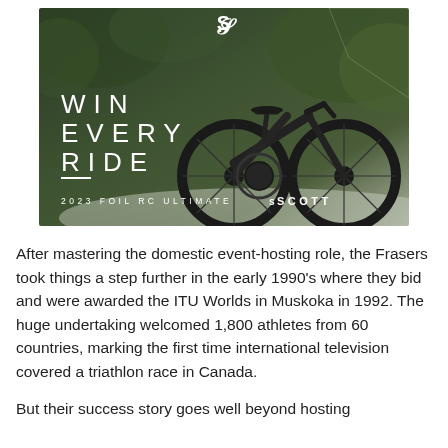[Figure (photo): Scott Foil RC Ultimate 2023 road bike advertisement. Dark carbon road bike on a road with green foliage background. White text overlay reads 'WIN EVERY RIDE' with '2023 FOIL RC ULTIMATE' and Scott logo at bottom right. Scott logo at top center.]
After mastering the domestic event-hosting role, the Frasers took things a step further in the early 1990's where they bid and were awarded the ITU Worlds in Muskoka in 1992. The huge undertaking welcomed 1,800 athletes from 60 countries, marking the first time international television covered a triathlon race in Canada.
But their success story goes well beyond hosting